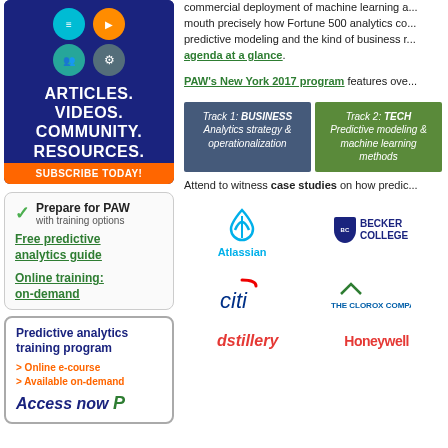[Figure (illustration): Blue banner box with icons for articles, videos, community, resources with subscribe today button]
[Figure (illustration): Prepare for PAW with training options box with green checkmark, links to free predictive analytics guide and online training on-demand]
Free predictive analytics guide
Online training: on-demand
[Figure (illustration): Predictive analytics training program box with online e-course, available on-demand, Access now]
commercial deployment of machine learning a... mouth precisely how Fortune 500 analytics co... predictive modeling and the kind of business r...
agenda at a glance.
PAW's New York 2017 program features ove...
[Figure (infographic): Two track boxes: Track 1 BUSINESS Analytics strategy & operationalization (blue), Track 2 TECH Predictive modeling & machine learning methods (green)]
Attend to witness case studies on how predic...
[Figure (logo): Atlassian logo]
[Figure (logo): Becker College logo]
[Figure (logo): Citi logo]
[Figure (logo): The Clorox Company logo]
[Figure (logo): dstillery logo (partial)]
[Figure (logo): Honeywell logo (partial)]